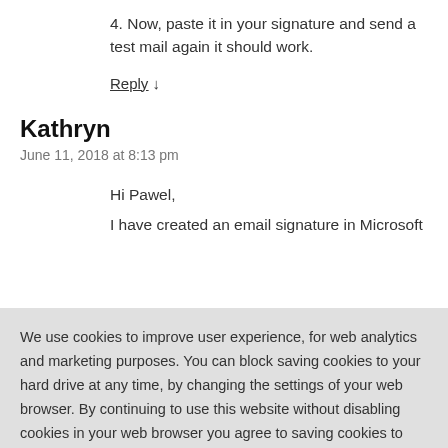4. Now, paste it in your signature and send a test mail again it should work.
Reply ↓
Kathryn
June 11, 2018 at 8:13 pm
Hi Pawel,
I have created an email signature in Microsoft
We use cookies to improve user experience, for web analytics and marketing purposes. You can block saving cookies to your hard drive at any time, by changing the settings of your web browser. By continuing to use this website without disabling cookies in your web browser you agree to saving cookies to your hard drive. Learn more in our Privacy Policy.
OK
Reply ↓